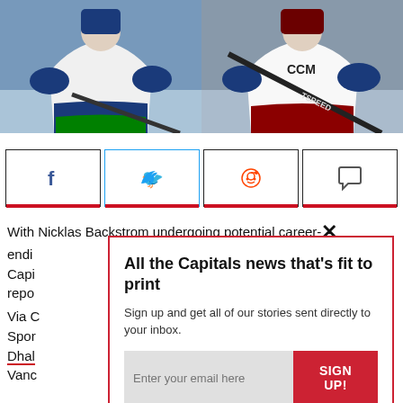[Figure (photo): Two NHL hockey players: left side shows a Vancouver Canucks player in white/green/blue jersey holding a hockey stick, right side shows a Colorado Avalanche player in white/burgundy jersey with CCM gear and a Bauer stick labeled TSPEED]
[Figure (other): Social media share buttons row: Facebook (f), Twitter (bird icon, highlighted with blue border), Reddit (alien icon), and comment/speech bubble icon. Each button has a red bottom border accent.]
With Nicklas Backstrom undergoing potential career-ending hip surgery, the Washington Capitals are reportedly...
Via C... Spor... Dhal... Vanc...
[Figure (screenshot): Email newsletter signup popup overlay with red border. Title: 'All the Capitals news that’s fit to print'. Body: 'Sign up and get all of our stories sent directly to your inbox.' Email input field with placeholder 'Enter your email here', red SIGN UP! button, and privacy note: 'We respect your privacy and take protecting it seriously'. X close button in top right.]